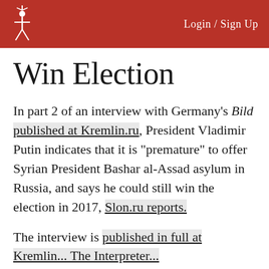Login / Sign Up
Win Election
In part 2 of an interview with Germany's Bild published at Kremlin.ru, President Vladimir Putin indicates that it is "premature" to offer Syrian President Bashar al-Assad asylum in Russia, and says he could still win the election in 2017, Slon.ru reports.
The interview is published in full at Kremlin... The Interpreter...